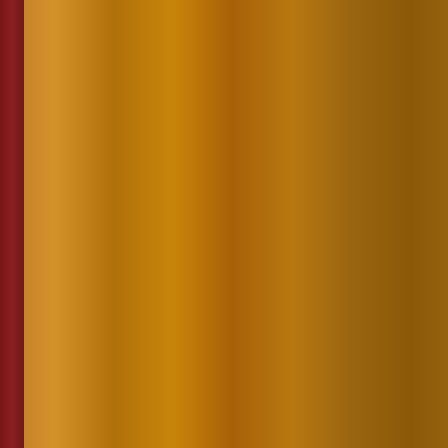Alice Cooper: Crazy Little…
Munly & the Lee Lewis H…
Birdeatsbaby: Rosary
Diable Amoreux: The Tow…
Di Nigunim: The Town Ra…
Baby Gramps & the Back…
Victor Sierra: Pale Golden…
Jaakko Laitinen & Väärä R…
Ando Ehlers: Damsel
Not Waving But Drowning…
Cop Shoot Cop: Hung Aga…